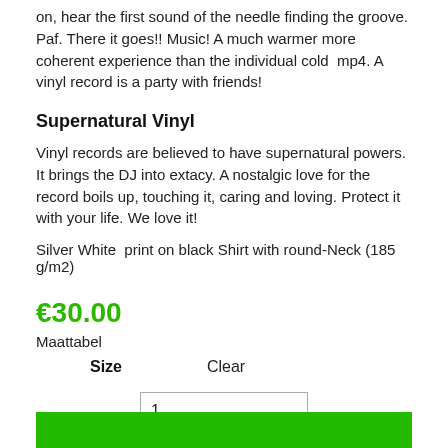on, hear the first sound of the needle finding the groove. Paf. There it goes!! Music! A much warmer more coherent experience than the individual cold  mp4. A vinyl record is a party with friends!
Supernatural Vinyl
Vinyl records are believed to have supernatural powers. It brings the DJ into extacy. A nostalgic love for the record boils up, touching it, caring and loving. Protect it with your life. We love it!
Silver White  print on black Shirt with round-Neck (185 g/m2)
€30.00
Maattabel
Size    Clear
1